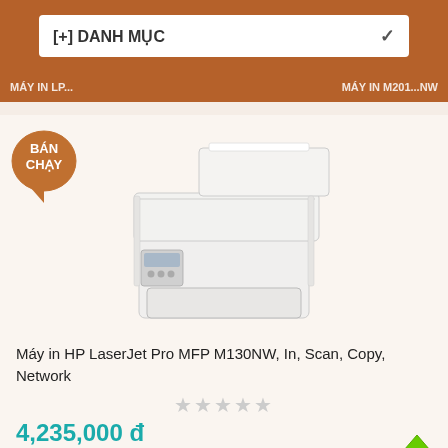[+] DANH MỤC
MÁY IN HP...
[Figure (photo): HP LaserJet Pro MFP M130NW printer product photo, white multifunction laser printer with document feeder on top]
Máy in HP LaserJet Pro MFP M130NW, In, Scan, Copy, Network
★★★★★ (empty stars rating)
4,235,000 đ
View: 30711
Part: M130NW